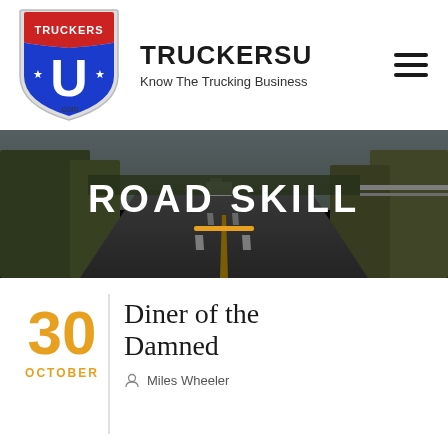[Figure (logo): TruckersU shield logo with red top, blue body, white U letter and stars, .com text at bottom]
TRUCKERSU
Know The Trucking Business
[Figure (photo): Highway road scene with a semi truck in the distance, autumn trees on both sides, grey sky]
ROAD SKILL
30
OCTOBER
Diner of the Damned
Miles Wheeler